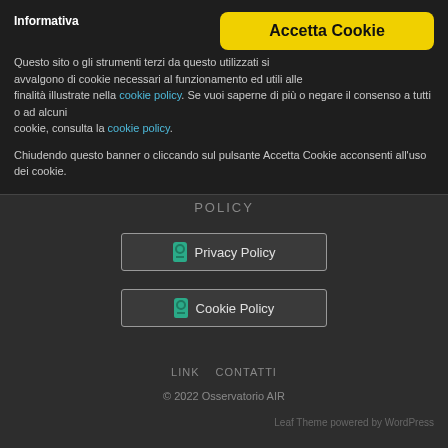Informativa
Questo sito o gli strumenti terzi da questo utilizzati si avvalgono di cookie necessari al funzionamento ed utili alle finalità illustrate nella cookie policy. Se vuoi saperne di più o negare il consenso a tutti o ad alcuni cookie, consulta la cookie policy.

Chiudendo questo banner o cliccando sul pulsante Accetta Cookie acconsenti all'uso dei cookie.
POLICY
Privacy Policy
Cookie Policy
LINK   CONTATTI
© 2022 Osservatorio AIR
Leaf Theme powered by WordPress